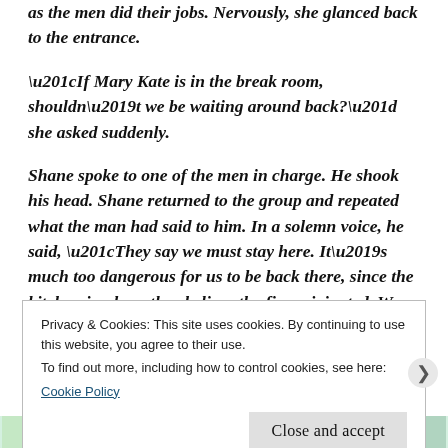as the men did their jobs. Nervously, she glanced back to the entrance.
“If Mary Kate is in the break room, shouldn’t we be waiting around back?” she asked suddenly.
Shane spoke to one of the men in charge. He shook his head. Shane returned to the group and repeated what the man had said to him. In a solemn voice, he said, “They say we must stay here. It’s much too dangerous for us to be back there, since the kitchen is where they believe the fire originated. We have to do as they say. I’m sorry, baby, we
Privacy & Cookies: This site uses cookies. By continuing to use this website, you agree to their use.
To find out more, including how to control cookies, see here:
Cookie Policy
Close and accept